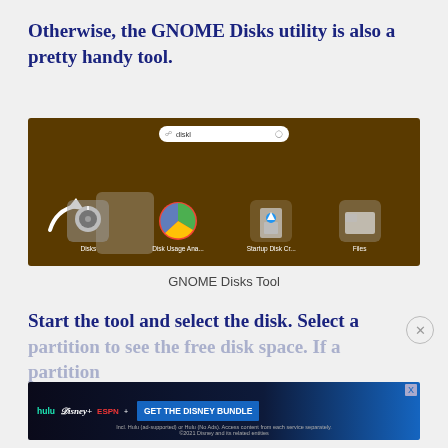Otherwise, the GNOME Disks utility is also a pretty handy tool.
[Figure (screenshot): GNOME application search showing 'diskl' query with four app icons: Disks (selected with arrow), Disk Usage Analyzer, Startup Disk Creator, and Files, on a dark brown background.]
GNOME Disks Tool
Start the tool and select the disk. Select a partition to see the free disk space. If a partition is not ... the 'play' icon.
[Figure (screenshot): Disney Bundle advertisement banner: Hulu, Disney+, ESPN+ logos with 'GET THE DISNEY BUNDLE' call-to-action button and fine print about service terms.]